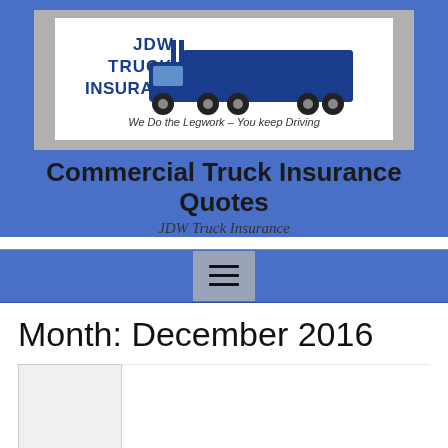[Figure (logo): JDW Truck Insurance logo with blue truck silhouette and text 'JDW TRUCK INSURANCE', tagline 'We Do the Legwork - You keep Driving']
Commercial Truck Insurance Quotes
JDW Truck Insurance
[Figure (other): Navigation menu hamburger button (three horizontal lines)]
Month: December 2016